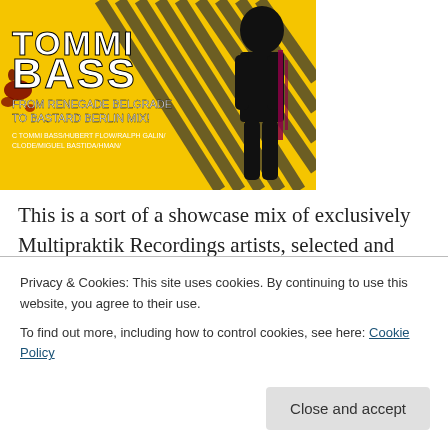[Figure (illustration): Album cover art for Tommi Bass 'From Renegade Belgrade to Bastard Berlin Mix!' on Multipraktik Recordings. Yellow background with black diagonal stripes, bold text 'TOMMI BASS', subtitle text, silhouette of a person, and blood splatter elements.]
This is a sort of a showcase mix of exclusively Multipraktik Recordings artists, selected and mixed by one of the Berlin/London's finest underground producers and DJ's –
Tommi Bass
Privacy & Cookies: This site uses cookies. By continuing to use this website, you agree to their use.
To find out more, including how to control cookies, see here: Cookie Policy
Close and accept